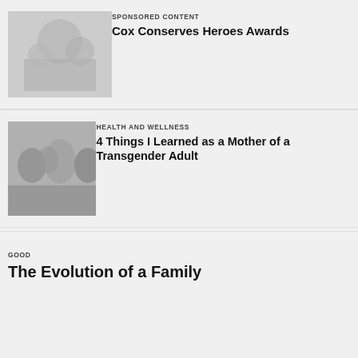[Figure (photo): Grayscale photo of people outdoors, possibly a group activity]
SPONSORED CONTENT
Cox Conserves Heroes Awards
[Figure (photo): Grayscale photo of a group of people posing together]
HEALTH AND WELLNESS
4 Things I Learned as a Mother of a Transgender Adult
GOOD
The Evolution of a Family